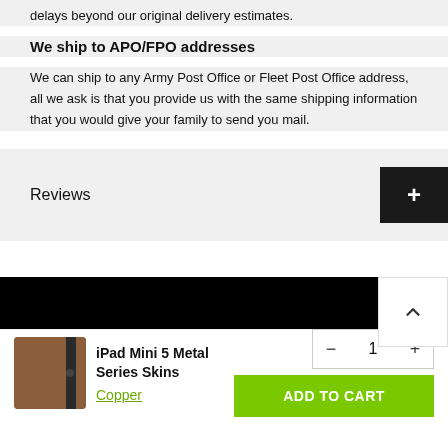delays beyond our original delivery estimates.
We ship to APO/FPO addresses
We can ship to any Army Post Office or Fleet Post Office address, all we ask is that you provide us with the same shipping information that you would give your family to send you mail.
Reviews
[Figure (screenshot): Black navigation bar with scroll-up arrow button]
[Figure (screenshot): Product cart bar showing iPad Mini 5 Metal Series Skins in Copper with quantity selector and Add to Cart button]